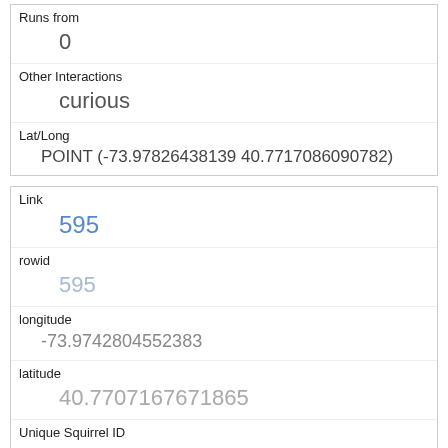| Runs from | 0 |
| Other Interactions | curious |
| Lat/Long | POINT (-73.97826438139 40.7717086090782) |
| Link | 595 |
| rowid | 595 |
| longitude | -73.9742804552383 |
| latitude | 40.7707167671865 |
| Unique Squirrel ID | 7E-PM-1013-05 |
| Hectare | 07E |
| Shift | PM |